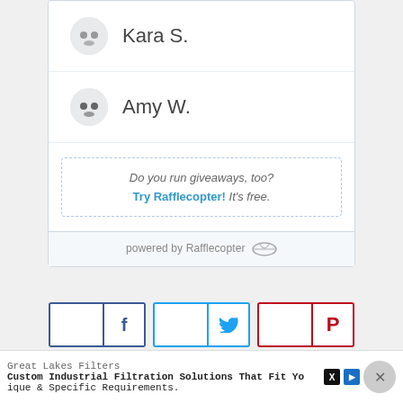Kara S.
Amy W.
Do you run giveaways, too? Try Rafflecopter! It's free.
powered by Rafflecopter
[Figure (screenshot): Social share buttons row: Facebook (f), Twitter (bird), Pinterest (P)]
Great Lakes Filters Custom Industrial Filtration Solutions That Fit Your Unique & Specific Requirements.